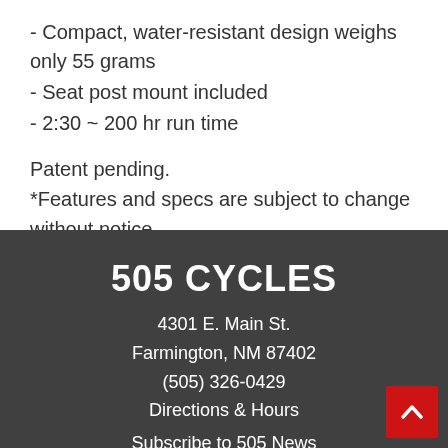- Compact, water-resistant design weighs only 55 grams
- Seat post mount included
- 2:30 ~ 200 hr run time
Patent pending.
*Features and specs are subject to change without notice.
505 CYCLES
4301 E. Main St.
Farmington, NM 87402
(505) 326-0429
Directions & Hours
Subscribe to 505 News